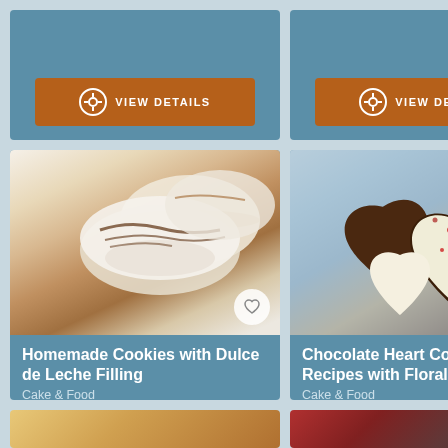[Figure (screenshot): Top card partial view with VIEW DETAILS button on blue background (left column)]
[Figure (screenshot): Top card partial view with VIEW DETAILS button on blue background (middle column)]
[Figure (screenshot): Top card partial view, partially visible (right column)]
[Figure (photo): Photo of homemade cookies with dulce de leche filling - macaroon-style sandwich cookies with chocolate drizzle]
Homemade Cookies with Dulce de Leche Filling
Cake & Food
Juliana Alonso Dorola of "101 Gourmet Cookies for Everyone" was the winner of a b...
[Figure (photo): Photo of chocolate heart-shaped cookies with floral decoration and sprinkles on blue background]
Chocolate Heart Cookie Recipes with Floral...
Cake & Food
No matter who you are, you've got to eat. That's what makes edible gifts such cro...
[Figure (photo): Partial photo of another recipe card (right column)]
[Figure (photo): Bottom strip partial photo (left) - cookies/baked goods]
[Figure (photo): Bottom strip partial photo (right) - dark food item]